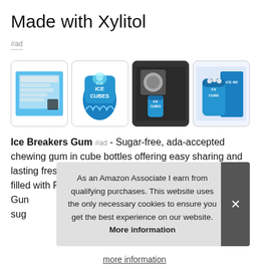Made with Xylitol
#ad
[Figure (photo): Four product images of Ice Breakers Ice Cubes gum: back of package, front of bag, product in car cup holder, product bottle with box]
Ice Breakers Gum #ad - Sugar-free, ada-accepted chewing gum in cube bottles offering easy sharing and lasting freshness. Contains four 4 40-count cube bottles filled with Pep... Gun... sug...
As an Amazon Associate I earn from qualifying purchases. This website uses the only necessary cookies to ensure you get the best experience on our website. More information
more information